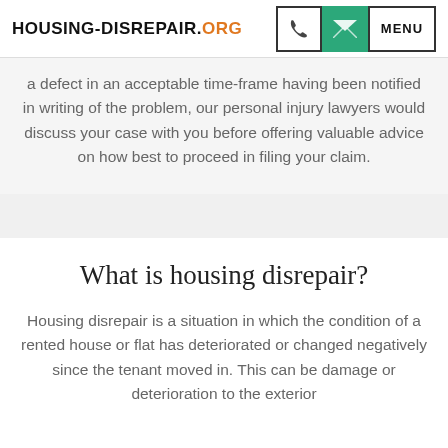HOUSING-DISREPAIR.ORG
a defect in an acceptable time-frame having been notified in writing of the problem, our personal injury lawyers would discuss your case with you before offering valuable advice on how best to proceed in filing your claim.
What is housing disrepair?
Housing disrepair is a situation in which the condition of a rented house or flat has deteriorated or changed negatively since the tenant moved in. This can be damage or deterioration to the exterior